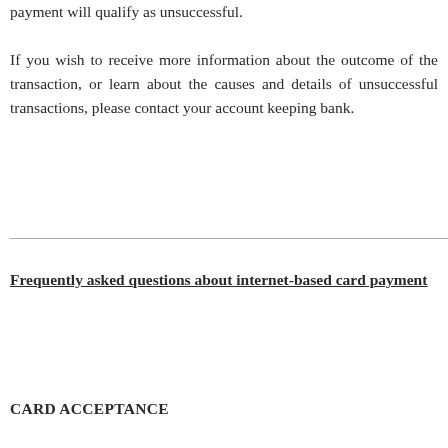payment will qualify as unsuccessful.
If you wish to receive more information about the outcome of the transaction, or learn about the causes and details of unsuccessful transactions, please contact your account keeping bank.
Frequently asked questions about internet-based card payment
CARD ACCEPTANCE